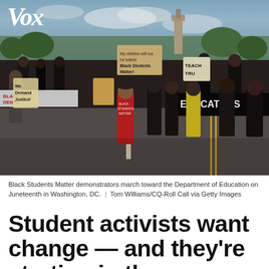Vox
[Figure (photo): Black Students Matter demonstrators marching down a street carrying signs and banners toward the Department of Education on Juneteenth in Washington, DC. Protesters wear masks and carry signs reading 'Black Students Matter', 'Teach Truth', 'Educators for Equity', 'We Demand Justice'. A woman in red shirt walks at center front.]
Black Students Matter demonstrators march toward the Department of Education on Juneteenth in Washington, DC.  |  Tom Williams/CQ-Roll Call via Getty Images
Student activists want change — and they're starting in the